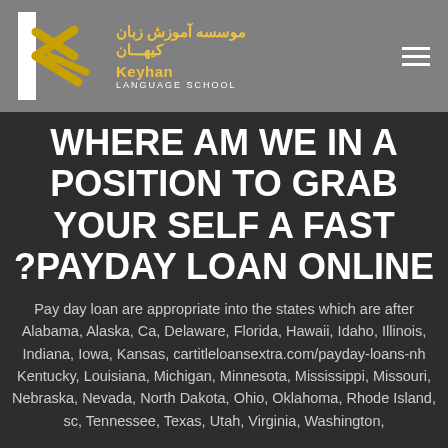[Figure (logo): Keyhan Language School logo with stylized K in white and gold on grey background, Persian text 'موسسه آموزش زبان کیهان' in gold, and 'Keyhan LANGUAGE SCHOOL' in gold and white]
WHERE AM WE IN A POSITION TO GRAB YOUR SELF A FAST ?PAYDAY LOAN ONLINE
Pay day loan are appropriate into the states which are after Alabama, Alaska, Ca, Delaware, Florida, Hawaii, Idaho, Illinois, Indiana, Iowa, Kansas, cartitleloansextra.com/payday-loans-nh Kentucky, Louisiana, Michigan, Minnesota, Mississippi, Missouri, Nebraska, Nevada, North Dakota, Ohio, Oklahoma, Rhode Island, sc, Tennessee, Texas, Utah, Virginia, Washington,